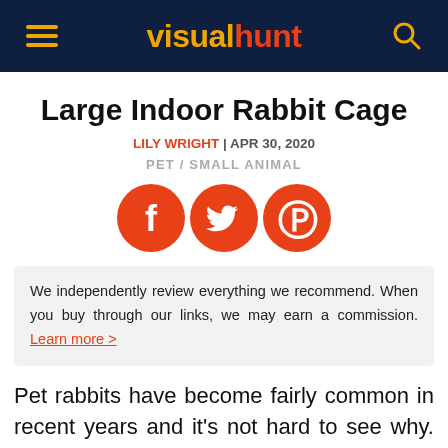visualhunt
Large Indoor Rabbit Cage
LILY WRIGHT | APR 30, 2020
PET / SMALL ANIMAL
[Figure (infographic): Three orange circular social media icons: Facebook (f), Twitter (bird), Pinterest (P)]
We independently review everything we recommend. When you buy through our links, we may earn a commission. Learn more >
Pet rabbits have become fairly common in recent years and it's not hard to see why. They are cute and very adorable. However,